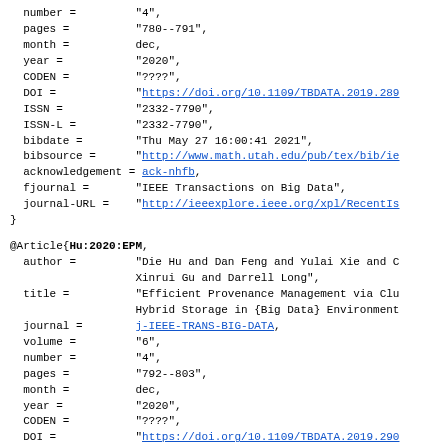number =         "4",
  pages =          "780--791",
  month =          dec,
  year =           "2020",
  CODEN =          "????",
  DOI =            "https://doi.org/10.1109/TBDATA.2019.289...",
  ISSN =           "2332-7790",
  ISSN-L =         "2332-7790",
  bibdate =        "Thu May 27 16:00:41 2021",
  bibsource =      "http://www.math.utah.edu/pub/tex/bib/ie...",
  acknowledgement = ack-nhfb,
  fjournal =       "IEEE Transactions on Big Data",
  journal-URL =    "http://ieeexplore.ieee.org/xpl/RecentIs...",
}
@Article{Hu:2020:EPM,
  author =         "Die Hu and Dan Feng and Yulai Xie and C... Xinrui Gu and Darrell Long",
  title =          "Efficient Provenance Management via Clu... Hybrid Storage in {Big Data} Environment...",
  journal =        j-IEEE-TRANS-BIG-DATA,
  volume =         "6",
  number =         "4",
  pages =          "792--803",
  month =          dec,
  year =           "2020",
  CODEN =          "????",
  DOI =            "https://doi.org/10.1109/TBDATA.2019.290...",
  ISSN =           "2332-7790",
  ISSN-L =         "2332-7790",